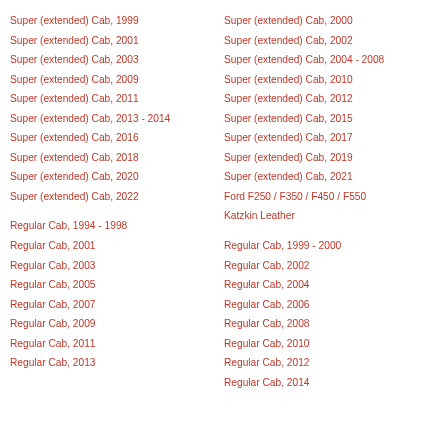Super (extended) Cab, 1999
Super (extended) Cab, 2000
Super (extended) Cab, 2001
Super (extended) Cab, 2002
Super (extended) Cab, 2003
Super (extended) Cab, 2004 - 2008
Super (extended) Cab, 2009
Super (extended) Cab, 2010
Super (extended) Cab, 2011
Super (extended) Cab, 2012
Super (extended) Cab, 2013 - 2014
Super (extended) Cab, 2015
Super (extended) Cab, 2016
Super (extended) Cab, 2017
Super (extended) Cab, 2018
Super (extended) Cab, 2019
Super (extended) Cab, 2020
Super (extended) Cab, 2021
Super (extended) Cab, 2022
Ford F250 / F350 / F450 / F550 Katzkin Leather
Regular Cab, 1994 - 1998
Regular Cab, 1999 - 2000
Regular Cab, 2001
Regular Cab, 2002
Regular Cab, 2003
Regular Cab, 2004
Regular Cab, 2005
Regular Cab, 2006
Regular Cab, 2007
Regular Cab, 2008
Regular Cab, 2009
Regular Cab, 2010
Regular Cab, 2011
Regular Cab, 2012
Regular Cab, 2013
Regular Cab, 2014